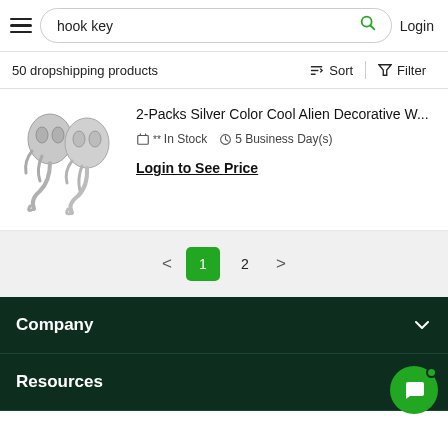hook key  Login
50 dropshipping products
Sort  Filter
[Figure (photo): Two silver alien decorative wall hooks shaped like alien heads with hooks at the bottom]
2-Packs Silver Color Cool Alien Decorative W...
** In Stock  5 Business Day(s)
Login to See Price
< 1 2 >
Company
Resources